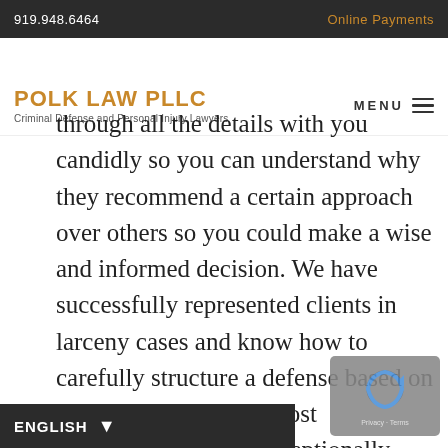919.948.6464   Online Payments
POLK LAW PLLC
Criminal Defense and Personal Injury Lawyers
through all the details with you candidly so you can understand why they recommend a certain approach over others so you could make a wise and informed decision. We have successfully represented clients in larceny cases and know how to carefully structure a defense based on the facts of the case. Most importantly, we are exceptionally skilled at taking these cases to trial, as we know the tactics used by solution that often push the
ENGLISH